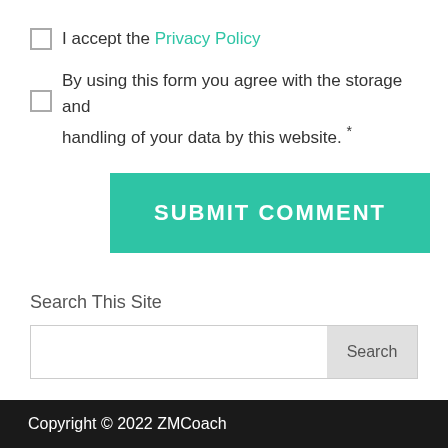I accept the Privacy Policy
By using this form you agree with the storage and handling of your data by this website. *
SUBMIT COMMENT
Search This Site
Search
Copyright © 2022 ZMCoach